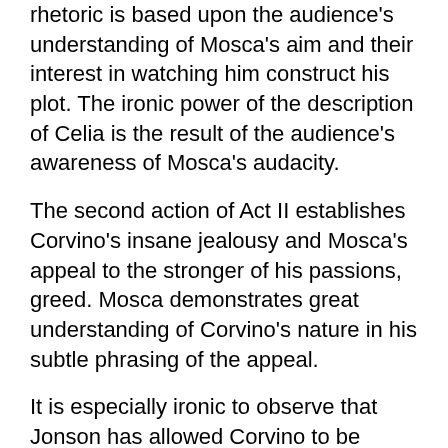rhetoric is based upon the audience's understanding of Mosca's aim and their interest in watching him construct his plot. The ironic power of the description of Celia is the result of the audience's awareness of Mosca's audacity.
The second action of Act II establishes Corvino's insane jealousy and Mosca's appeal to the stronger of his passions, greed. Mosca demonstrates great understanding of Corvino's nature in his subtle phrasing of the appeal.
It is especially ironic to observe that Jonson has allowed Corvino to be cuckolded in his own house!
It is also important to note Corvino's excessive, lengthy, and jealous tirade on fidelity, his quick reversal of form, and, finally, his warm sympathy for his wife. These emotional transitions demand a sophisticated comic touch and a delicate sense of timing, attributes found only in great character actors.